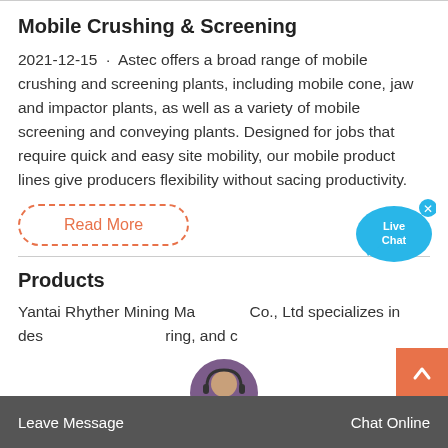Mobile Crushing & Screening
2021-12-15 · Astec offers a broad range of mobile crushing and screening plants, including mobile cone, jaw and impactor plants, as well as a variety of mobile screening and conveying plants. Designed for jobs that require quick and easy site mobility, our mobile product lines give producers flexibility without sacing productivity.
Read More
Products
Yantai Rhyther Mining Machinery Co., Ltd specializes in designing, manufacturing, and c...